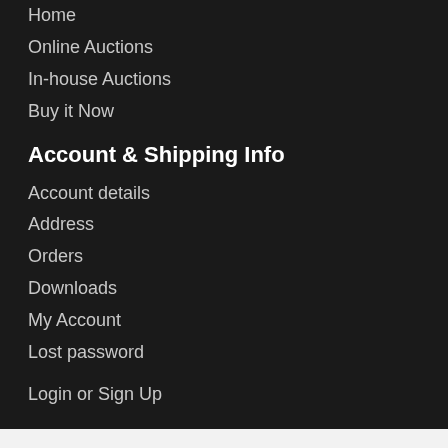Home
Online Auctions
In-house Auctions
Buy it Now
Account & Shipping Info
Account details
Address
Orders
Downloads
My Account
Lost password
Login or Sign Up
We use cookies on our website to give you the most relevant experience by remembering your preferences and repeat visits. By clicking "Accept All", you consent to the use of ALL the cookies. However, you may visit "Cookie Settings" to provide a controlled consent.